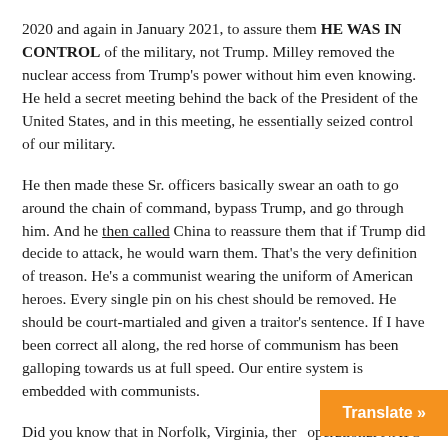2020 and again in January 2021, to assure them HE WAS IN CONTROL of the military, not Trump. Milley removed the nuclear access from Trump's power without him even knowing. He held a secret meeting behind the back of the President of the United States, and in this meeting, he essentially seized control of our military.
He then made these Sr. officers basically swear an oath to go around the chain of command, bypass Trump, and go through him. And he then called China to reassure them that if Trump did decide to attack, he would warn them. That's the very definition of treason. He's a communist wearing the uniform of American heroes. Every single pin on his chest should be removed. He should be court-martialed and given a traitor's sentence. If I have been correct all along, the red horse of communism has been galloping towards us at full speed. Our entire system is embedded with communists.
Did you know that in Norfolk, Virginia, there is an operational NATO base? Guess who was al...